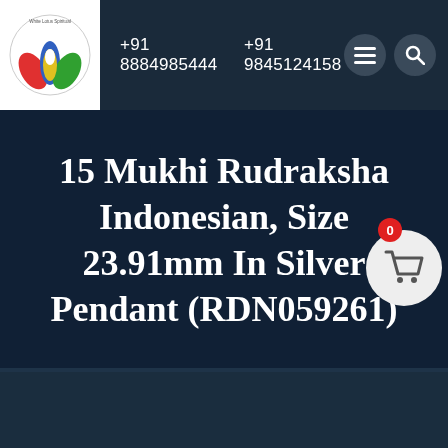+91 8884985444   +91 9845124158
[Figure (logo): White Lotus Spiritual store logo with colorful lotus flower]
15 Mukhi Rudraksha Indonesian, Size 23.91mm In Silver Pendant (RDN059261)